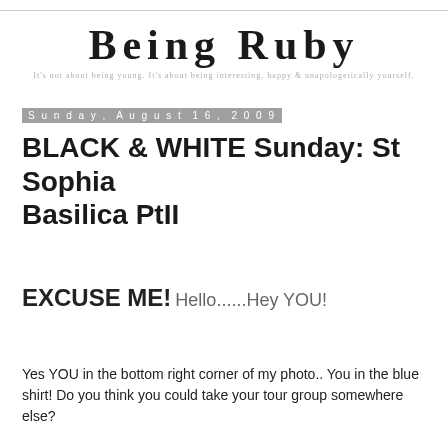BEING RUBY
It's not about being young. It's about being interesting, happy & unapologetically yourself.
Sunday, August 16, 2009
BLACK & WHITE Sunday: St Sophia Basilica PtII
EXCUSE ME! Hello......Hey YOU!
Yes YOU in the bottom right corner of my photo.. You in the blue shirt! Do you think you could take your tour group somewhere else?